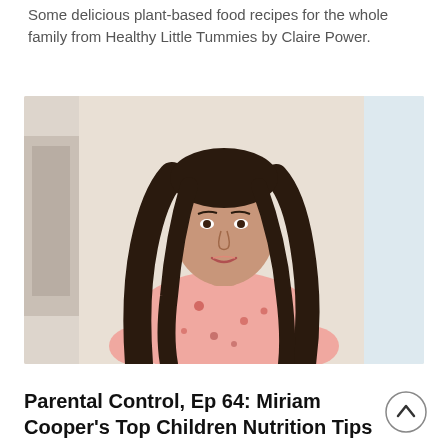Some delicious plant-based food recipes for the whole family from Healthy Little Tummies by Claire Power.
[Figure (photo): Portrait photo of a woman with long dark hair, wearing a pink floral blouse, sitting indoors in a bright room with light-coloured walls.]
Parental Control, Ep 64: Miriam Cooper's Top Children Nutrition Tips